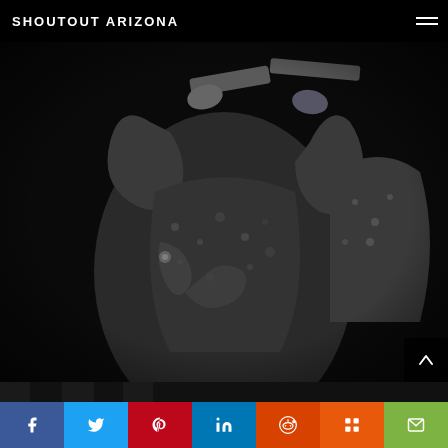SHOUTOUT ARIZONA
[Figure (photo): Black and white photograph of performers in patterned traditional clothing, arms raised, holding instruments overhead, shot from close up]
[Figure (photo): Partial black and white photograph showing dark curtain/backdrop, second image in a series]
Facebook, Twitter, Pinterest, LinkedIn, Reddit, Mix, Email social share buttons